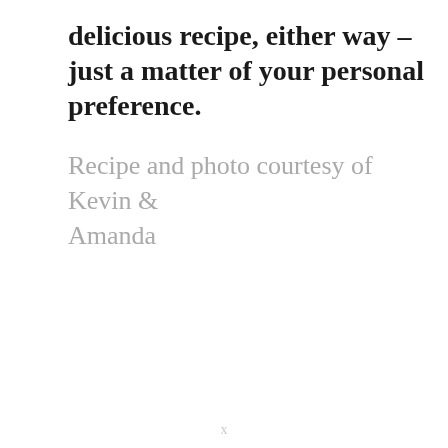delicious recipe, either way – just a matter of your personal preference.
Recipe and photo courtesy of Kevin & Amanda
x